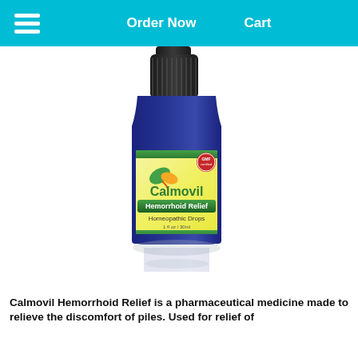Order Now   Cart
[Figure (photo): A cobalt blue dropper/spray bottle of Calmovil Hemorrhoid Relief Homeopathic Drops (1 fl oz / 30ml) with a black pump sprayer cap. The label features green and yellow leaf logo, 'Calmovil' in green text, 'Hemorrhoid Relief' on a green banner, 'Homeopathic Drops' and a GMF badge. The bottle casts a reflection below it.]
Calmovil Hemorrhoid Relief is a pharmaceutical medicine made to relieve the discomfort of piles. Used for relief of